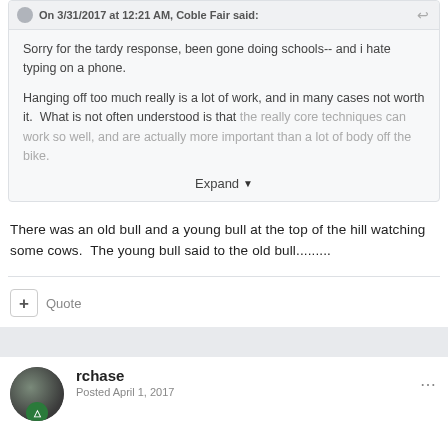On 3/31/2017 at 12:21 AM, Coble Fair said:
Sorry for the tardy response, been gone doing schools-- and i hate typing on a phone.
Hanging off too much really is a lot of work, and in many cases not worth it.  What is not often understood is that the really core techniques can work so well, and are actually more important than a lot of body off the bike.
Expand
There was an old bull and a young bull at the top of the hill watching some cows.  The young bull said to the old bull.........
+ Quote
rchase
Posted April 1, 2017